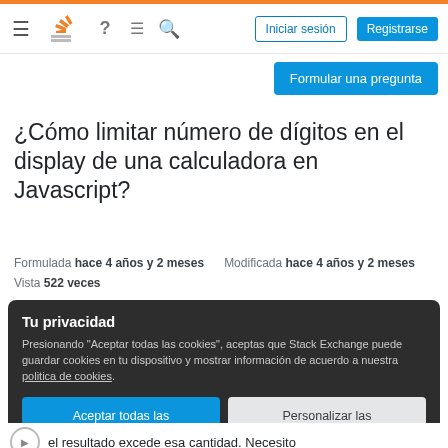Stack Overflow navigation bar with hamburger menu, logo, help, chat, search icons, Iniciar sesión and Registrarse buttons
Formular una pregunta
¿Cómo limitar número de dígitos en el display de una calculadora en Javascript?
Formulada hace 4 años y 2 meses   Modificada hace 4 años y 2 meses
Vista 522 veces
Tu privacidad
Presionando "Aceptar todas las cookies", aceptas que Stack Exchange puede guardar cookies en tu dispositivo y mostrar información de acuerdo a nuestra politica de cookies.
Aceptar todas las cookies
Personalizar las configuraciones
el resultado excede esa cantidad. Necesito